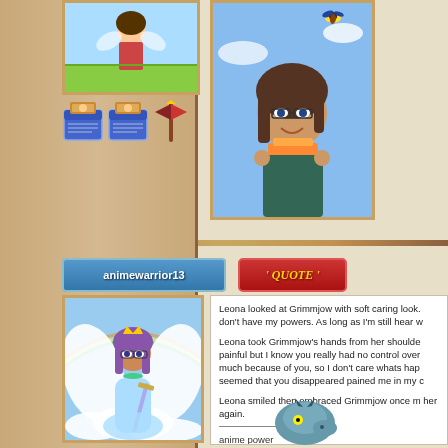[Figure (screenshot): Online forum/game profile page showing anime-style avatars, username 'animewarrior13', a QUOTE button, and text excerpts from a roleplay story about Leona and Grimmjow]
animewarrior13
' QUOTE '
Leona looked at Grimmjow with soft caring look. don't have my powers. As long as I'm still hear w

Leona took Grimmjow's hands from her shoulde painful but I know you really had no control over much because of you, so I don't care whats hap seemed that you disappeared pained me in my c

Leona smiled then embraced Grimmjow once m her again.

anime power